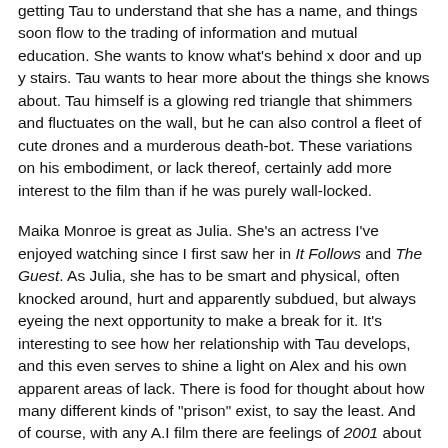getting Tau to understand that she has a name, and things soon flow to the trading of information and mutual education. She wants to know what's behind x door and up y stairs. Tau wants to hear more about the things she knows about. Tau himself is a glowing red triangle that shimmers and fluctuates on the wall, but he can also control a fleet of cute drones and a murderous death-bot. These variations on his embodiment, or lack thereof, certainly add more interest to the film than if he was purely wall-locked.
Maika Monroe is great as Julia. She's an actress I've enjoyed watching since I first saw her in It Follows and The Guest. As Julia, she has to be smart and physical, often knocked around, hurt and apparently subdued, but always eyeing the next opportunity to make a break for it. It's interesting to see how her relationship with Tau develops, and this even serves to shine a light on Alex and his own apparent areas of lack. There is food for thought about how many different kinds of "prison" exist, to say the least. And of course, with any A.I film there are feelings of 2001 about it at times, but Gary Oldman voices Tau in a fine manner.